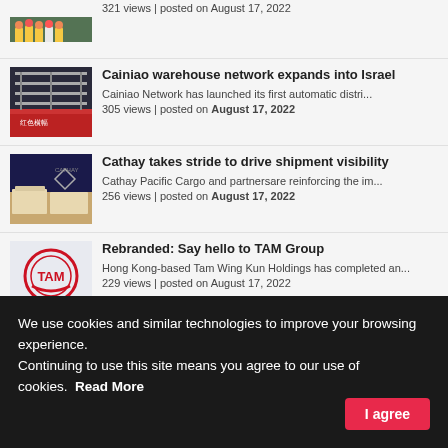321 views | posted on August 17, 2022
[Figure (photo): Group of workers in reflective vests and hard hats]
Cainiao warehouse network expands into Israel
Cainiao Network has launched its first automatic distri...
305 views | posted on August 17, 2022
[Figure (photo): Warehouse interior with red banners]
Cathay takes stride to drive shipment visibility
Cathay Pacific Cargo and partnersare reinforcing the im...
256 views | posted on August 17, 2022
[Figure (photo): Cathay Pacific cargo on tarmac with Cathay logo visible]
Rebranded: Say hello to TAM Group
Hong Kong-based Tam Wing Kun Holdings has completed an...
229 views | posted on August 17, 2022
[Figure (logo): TAM Group logo — red circular icon with TAM text]
We use cookies and similar technologies to improve your browsing experience. Continuing to use this site means you agree to our use of cookies.  Read More
I agree